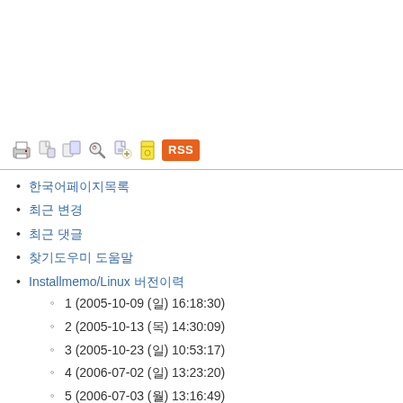[Figure (other): Toolbar with icons: print, new page, copy page, find, attach file, bookmark, and RSS button]
한국어 (Korean characters)
최근 변경
최근 댓글
찾기도우미 도움말
Installmemo/Linux 버전이력
1 (2005-10-09 (일) 16:18:30)
2 (2005-10-13 (목) 14:30:09)
3 (2005-10-23 (일) 10:53:17)
4 (2006-07-02 (일) 13:23:20)
5 (2006-07-03 (월) 13:16:49)
6 (2006-11-20 (월) 11:05:22)
7 (2006-12-18 (월) 13:42:33)
8 (2006-12-26 (화) 18:07:22)